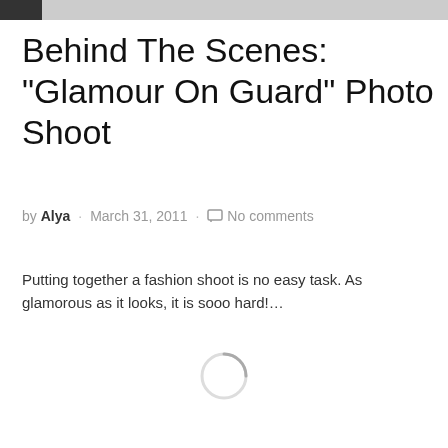Behind The Scenes: "Glamour On Guard" Photo Shoot
by Alya · March 31, 2011 · No comments
Putting together a fashion shoot is no easy task. As glamorous as it looks, it is sooo hard!...
[Figure (other): Loading spinner circle indicator]